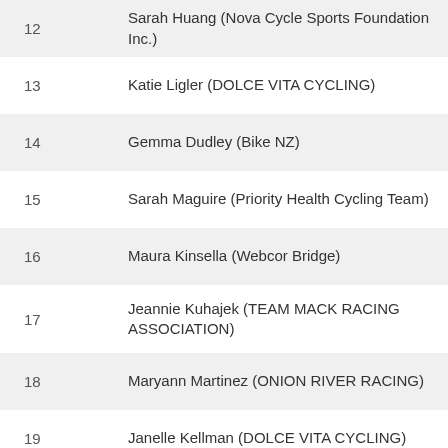| # | Name (Team) |
| --- | --- |
| 12 | Sarah Huang (Nova Cycle Sports Foundation Inc.) |
| 13 | Katie Ligler (DOLCE VITA CYCLING) |
| 14 | Gemma Dudley (Bike NZ) |
| 15 | Sarah Maguire (Priority Health Cycling Team) |
| 16 | Maura Kinsella (Webcor Bridge) |
| 17 | Jeannie Kuhajek (TEAM MACK RACING ASSOCIATION) |
| 18 | Maryann Martinez (ONION RIVER RACING) |
| 19 | Janelle Kellman (DOLCE VITA CYCLING) |
| 20 | Lindsey Kriete (Gear Grinder) |
| 21 | … |